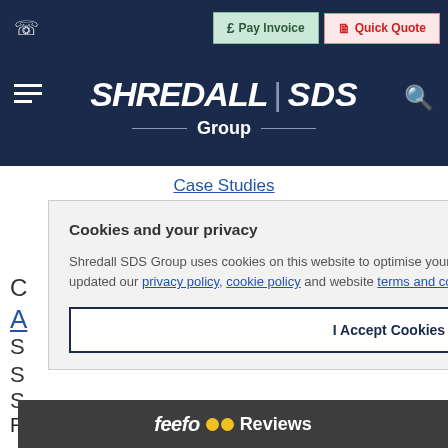Pay Invoice | Quick Quote
SHREDALL | SDS Group
Case Studies
Next
w Firm
Cookies and your privacy
Shredall SDS Group uses cookies on this website to optimise your browsing experience. We have recently updated our privacy policy, cookie policy and website terms and conditions.
I Accept Cookies
feefo Reviews
Recycling